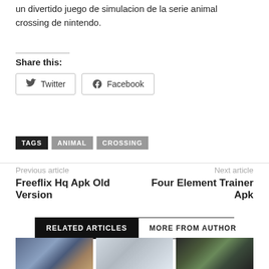un divertido juego de simulacion de la serie animal crossing de nintendo.
Share this:
Twitter
Facebook
TAGS  ANIMAL  CROSSING
Previous article
Freeflix Hq Apk Old Version
Next article
Four Element Trainer Apk
RELATED ARTICLES  MORE FROM AUTHOR
[Figure (photo): Three article thumbnail images side by side showing laptop, phone in hand, and Android phone with charger]